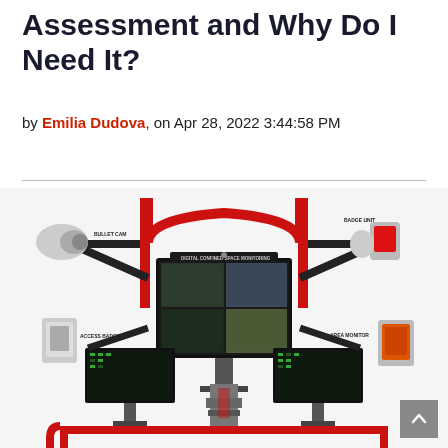Assessment and Why Do I Need It?
by Emilia Dudova, on Apr 28, 2022 3:44:58 PM
[Figure (photo): A digital confined space monitoring workstation with multiple screens showing camera feeds, bullet cam labeled 'BULLET CAM', badge unit labeled 'BADGE UNIT', access badge labeled 'ACCESS BADGE', and area monitor labeled 'AREA MONITOR', connected by a red and black frame structure.]